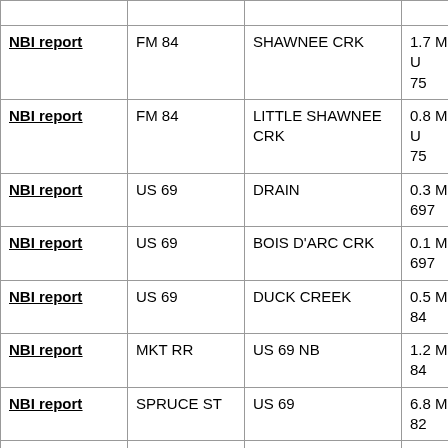|  |  |  |  |
| --- | --- | --- | --- |
| NBI report | FM 84 | SHAWNEE CRK | 1.7 MI W OF U 75 |
| NBI report | FM 84 | LITTLE SHAWNEE CRK | 0.8 MI W OF U 75 |
| NBI report | US 69 | DRAIN | 0.3 MI N OF F 697 |
| NBI report | US 69 | BOIS D'ARC CRK | 0.1 MI S OF F 697 |
| NBI report | US 69 | DUCK CREEK | 0.5 MI N OF F 84 |
| NBI report | MKT RR | US 69 NB | 1.2 MI N OF F 84 |
| NBI report | SPRUCE ST | US 69 | 6.8 MI S OF U 82 |
| NBI report | MKT RAILROAD | HIGHLAND RD | 2.7 MI W OF S 75A |
| NBI report | BELLS DR | ACHESON ST | 0.30 MI N OF |